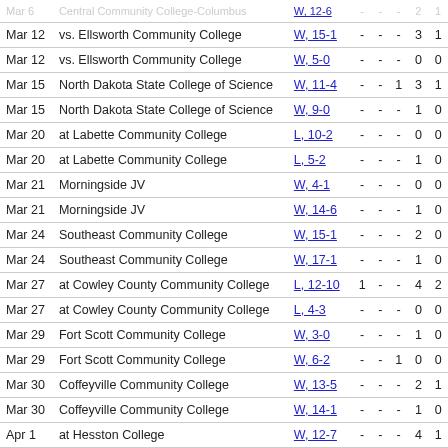| Date | Opponent | Score |  |  |  |  |  |
| --- | --- | --- | --- | --- | --- | --- | --- |
| Mar 6 | Central Community College-Columbus | W, 12-6 | - | - | - | 2 | 1 |
| Mar 12 | vs. Ellsworth Community College | W, 15-1 | - | - | - | 3 | 1 |
| Mar 12 | vs. Ellsworth Community College | W, 5-0 | - | - | - | 0 | 0 |
| Mar 15 | North Dakota State College of Science | W, 11-4 | - | - | 1 | 3 | 1 |
| Mar 15 | North Dakota State College of Science | W, 9-0 | - | - | - | 1 | 0 |
| Mar 20 | at Labette Community College | L, 10-2 | - | - | - | 0 | 0 |
| Mar 20 | at Labette Community College | L, 5-2 | - | - | - | 1 | 0 |
| Mar 21 | Morningside JV | W, 4-1 | - | - | - | 0 | 0 |
| Mar 21 | Morningside JV | W, 14-6 | - | - | - | 1 | 0 |
| Mar 24 | Southeast Community College | W, 15-1 | - | - | - | 2 | 0 |
| Mar 24 | Southeast Community College | W, 17-1 | - | - | - | 1 | 0 |
| Mar 27 | at Cowley County Community College | L, 12-10 | 1 | - | - | 4 | 2 |
| Mar 27 | at Cowley County Community College | L, 4-3 | - | - | - | 0 | 0 |
| Mar 29 | Fort Scott Community College | W, 3-0 | - | - | - | 1 | 0 |
| Mar 29 | Fort Scott Community College | W, 6-2 | - | - | 1 | 0 | 0 |
| Mar 30 | Coffeyville Community College | W, 13-5 | - | - | - | 2 | 1 |
| Mar 30 | Coffeyville Community College | W, 14-1 | - | - | - | 1 | 0 |
| Apr 1 | at Hesston College | W, 12-7 | - | - | - | 4 | 1 |
| Apr 1 | at Hesston College | W, 8-5 | - | - | - | 3 | 1 |
| Apr 3 | Metropolitan Community College | W, 19-12 | - | - | - | 4 | 1 |